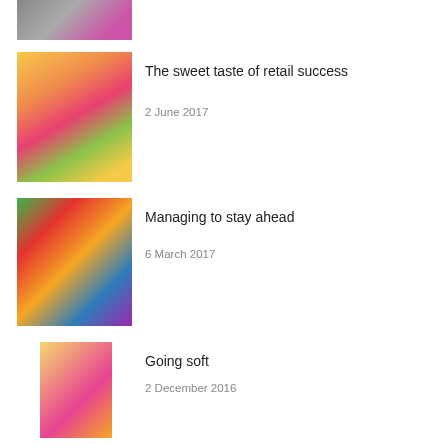[Figure (photo): Partial top of candy/sweets image (cropped at top of page)]
[Figure (photo): Colorful assorted candy and lollipops]
The sweet taste of retail success
2 June 2017
[Figure (photo): Skittles and Starburst candy packaging]
Managing to stay ahead
6 March 2017
[Figure (photo): Fruit Salad soft sweets bag (pink and yellow)]
Going soft
2 December 2016
[Figure (photo): Sweet treats tin with Christmas decorations]
Ringing up sweet sales
10 October 2016
[Figure (photo): Partial bottom candy image (cropped)]
A taste of the traditional